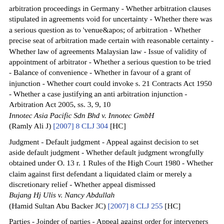arbitration proceedings in Germany - Whether arbitration clauses stipulated in agreements void for uncertainty - Whether there was a serious question as to 'venue&apos; of arbitration - Whether precise seat of arbitration made certain with reasonable certainty - Whether law of agreements Malaysian law - Issue of validity of appointment of arbitrator - Whether a serious question to be tried - Balance of convenience - Whether in favour of a grant of injunction - Whether court could invoke s. 21 Contracts Act 1950 - Whether a case justifying an anti arbitration injunction - Arbitration Act 2005, ss. 3, 9, 10
Innotec Asia Pacific Sdn Bhd v. Innotec GmbH
(Ramly Ali J) [2007] 8 CLJ 304 [HC]
Judgment - Default judgment - Appeal against decision to set aside default judgment - Whether default judgment wrongfully obtained under O. 13 r. 1 Rules of the High Court 1980 - Whether claim against first defendant a liquidated claim or merely a discretionary relief - Whether appeal dismissed
Bujang Hj Ulis v. Nancy Abdullah
(Hamid Sultan Abu Backer JC) [2007] 8 CLJ 255 [HC]
Parties - Joinder of parties - Appeal against order for interveners to be added as parties - Whether interveners have a right in subject matter of suit - Whether requirements necessary to intervene satisfied - Rules of the High Court 1980, O. 15 r. 6 - Courts of Judicature Act 1964, ss. 16, 17 - Whether the appeal...